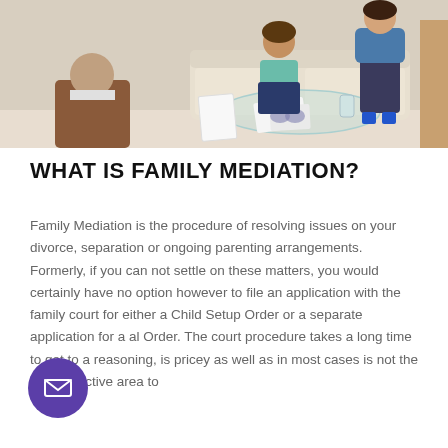[Figure (photo): Photo of a mediation session: three people seated in a living room setting, two people on a couch facing a mediator, with papers on a glass coffee table between them.]
WHAT IS FAMILY MEDIATION?
Family Mediation is the procedure of resolving issues on your divorce, separation or ongoing parenting arrangements. Formerly, if you can not settle on these matters, you would certainly have no option however to file an application with the family court for either a Child Setup Order or a separate application for a al Order. The court procedure takes a long time to get to a reasoning, is pricey as well as in most cases is not the most effective area to